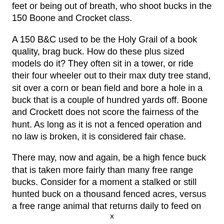feet or being out of breath, who shoot bucks in the 150 Boone and Crocket class.
A 150 B&C used to be the Holy Grail of a book quality, brag buck. How do these plus sized models do it? They often sit in a tower, or ride their four wheeler out to their max duty tree stand, sit over a corn or bean field and bore a hole in a buck that is a couple of hundred yards off. Boone and Crockett does not score the fairness of the hunt. As long as it is not a fenced operation and no law is broken, it is considered fair chase.
There may, now and again, be a high fence buck that is taken more fairly than many free range bucks. Consider for a moment a stalked or still hunted buck on a thousand fenced acres, versus a free range animal that returns daily to feed on
x